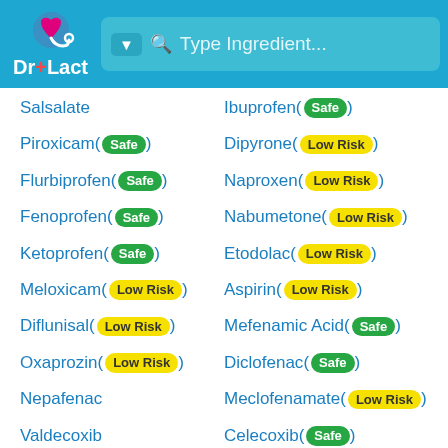[Figure (logo): Dr+Lact logo with search bar header]
Salsalate
Ibuprofen (Safe)
Piroxicam (Safe)
Dipyrone (Low Risk)
Flurbiprofen (Safe)
Naproxen (Low Risk)
Fenoprofen (Safe)
Nabumetone (Low Risk)
Ketoprofen (Safe)
Etodolac (Low Risk)
Meloxicam (Low Risk)
Aspirin (Low Risk)
Diflunisal (Low Risk)
Mefenamic Acid (Safe)
Oxaprozin (Low Risk)
Diclofenac (Safe)
Nepafenac
Meclofenamate (Low Risk)
Valdecoxib
Celecoxib (Safe)
Bromfenac
Ketorolac (Safe)
Tolmetin (Safe)
Choline Magnesium Salicylate
Indomethacin (Safe)
Sulindac (Low Risk)